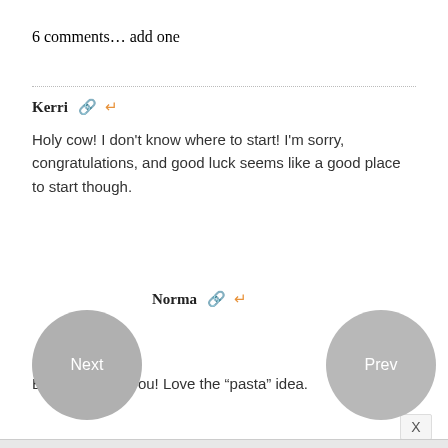6 comments... add one
Kerri
Holy cow! I don't know where to start! I'm sorry, congratulations, and good luck seems like a good place to start though.
Norma
Best of luck to you! Love the “pasta” idea.